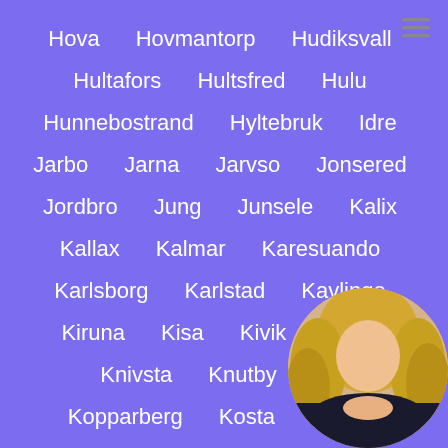Hova   Hovmantorp   Hudiksvall
Hultafors   Hultsfred   Hulu
Hunnebostrand   Hyltebruk   Idre
Jarbo   Jarna   Jarvso   Jonsered
Jordbro   Jung   Junsele   Kalix
Kallax   Kalmar   Karesuando
Karlsborg   Karlstad   Kavlinge
Kiruna   Kisa   Kivik   Klade[...]
Knivsta   Knutby   Ko[...]
Kopparberg   Kosta   Kristia[...]
[Figure (photo): Circular photo of a woman with blonde curly hair wearing black clothing, positioned in the bottom-right corner]